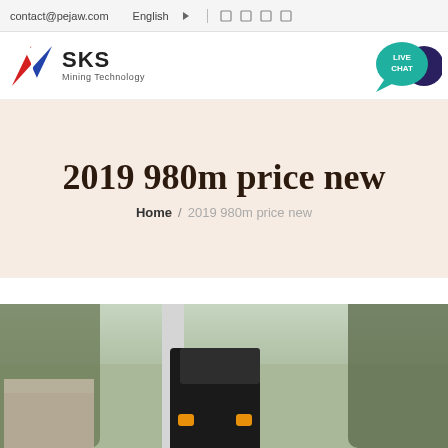contact@pejaw.com  English  [social icons]
[Figure (logo): SKS Mining Technology logo with red/blue angular S icon]
[Figure (illustration): Live Chat speech bubble icon in teal/dark blue]
2019 980m price new
Home / 2019 980m price new
[Figure (photo): Photo of a forklift or construction machine outdoors with trees in background]